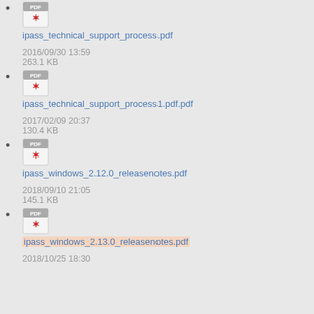ipass_technical_support_process.pdf
2016/09/30 13:59
263.1 KB
ipass_technical_support_process1.pdf.pdf
2017/02/09 20:37
130.4 KB
ipass_windows_2.12.0_releasenotes.pdf
2018/09/10 21:05
145.1 KB
ipass_windows_2.13.0_releasenotes.pdf
2018/10/25 18:30